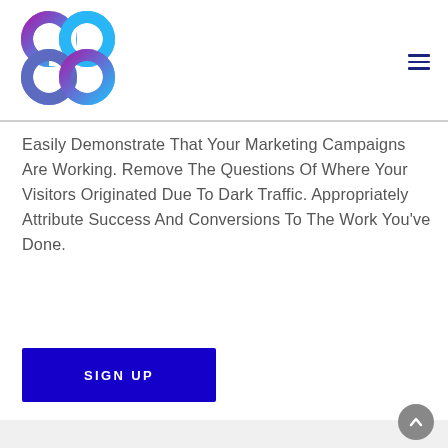[Figure (logo): Stylized infinity/chain link logo in purple and cyan/blue gradient colors]
[Figure (other): Hamburger menu icon (three horizontal lines) in dark navy blue, top right corner]
Easily Demonstrate That Your Marketing Campaigns Are Working. Remove The Questions Of Where Your Visitors Originated Due To Dark Traffic. Appropriately Attribute Success And Conversions To The Work You've Done.
[Figure (other): Blue 'SIGN UP' button]
[Figure (other): Gray circular scroll-to-top arrow button at bottom right]